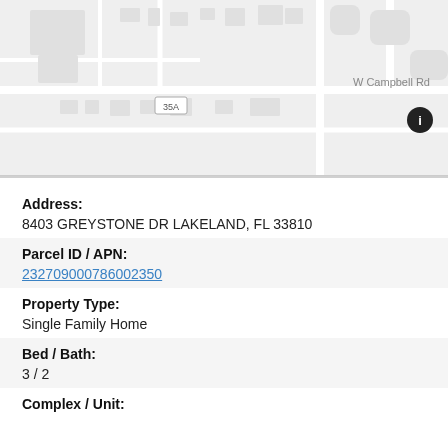[Figure (map): Street map showing area near W Campbell Rd with road 35A labeled and an info icon in the upper right]
Address:
8403 GREYSTONE DR LAKELAND, FL 33810
Parcel ID / APN:
232709000786002350
Property Type:
Single Family Home
Bed / Bath:
3 / 2
Complex / Unit: